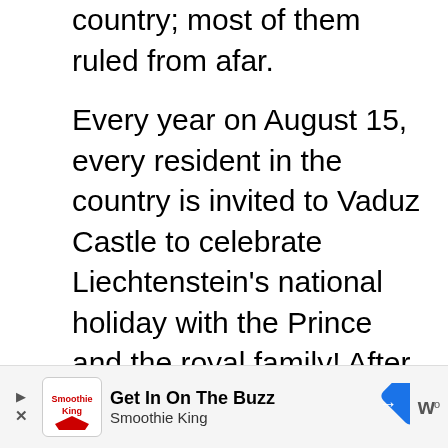country; most of them ruled from afar.
Every year on August 15, every resident in the country is invited to Vaduz Castle to celebrate Liechtenstein's national holiday with the Prince and the royal family! After an official reception, there is food and drinks for guests to indulge in, as well as some traditional dancing. It is a fun and festive occasion, and there aren't many places in the world where everyone in the country gets invited to just one party!
Now, for a country that doesn't actually…
[Figure (other): Advertisement banner for Smoothie King: 'Get In On The Buzz' with logo, navigation arrow icon, and Waze icon]